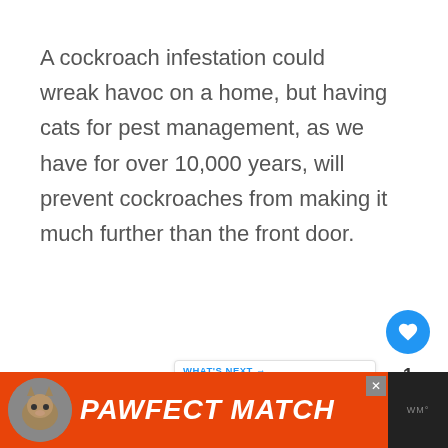A cockroach infestation could wreak havoc on a home, but having cats for pest management, as we have for over 10,000 years, will prevent cockroaches from making it much further than the front door.
[Figure (screenshot): Social media interaction buttons: blue heart/like button, count of 1, and share button]
[Figure (screenshot): What's Next card showing 'Can Rabbits Eat Cat...' with a thumbnail image]
[Figure (screenshot): Ad banner at bottom: orange PAWFECT MATCH advertisement with cat image, close button (X), and dark right panel]